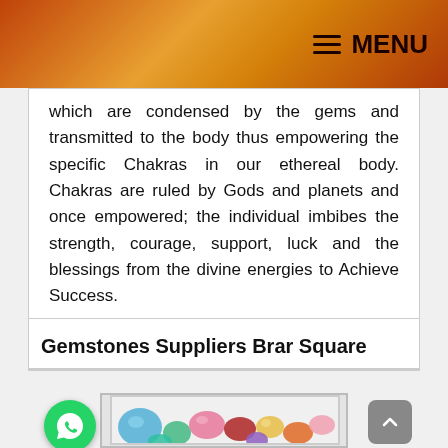MENU
which are condensed by the gems and transmitted to the body thus empowering the specific Chakras in our ethereal body. Chakras are ruled by Gods and planets and once empowered; the individual imbibes the strength, courage, support, luck and the blessings from the divine energies to Achieve Success.
Gemstones Suppliers Brar Square
[Figure (photo): Colorful gemstones arranged together including blue, pink, red, yellow, and orange gems]